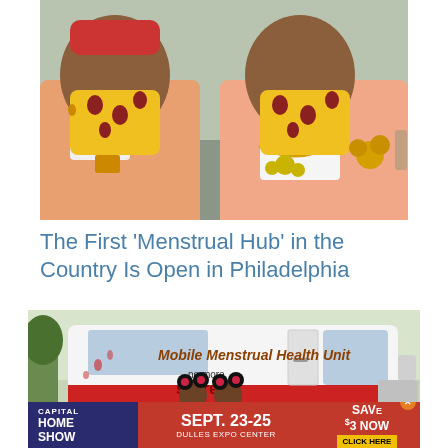[Figure (photo): Two people wearing matching yellow face masks with brown floral pattern, gold jewelry and accessories, posing for a selfie-style photo]
The First ‘Menstrual Hub’ in the Country Is Open in Philadelphia
[Figure (photo): A white van with red and white wrap reading 'Mobile Menstrual Health Unit - no more secrets' with two women in pink shirts standing in front of it]
[Figure (other): Advertisement banner for Capital Home Show, Sept. 23-25 at Dulles Expo Center, with a 'Save $3 Now - Click Here' call to action]